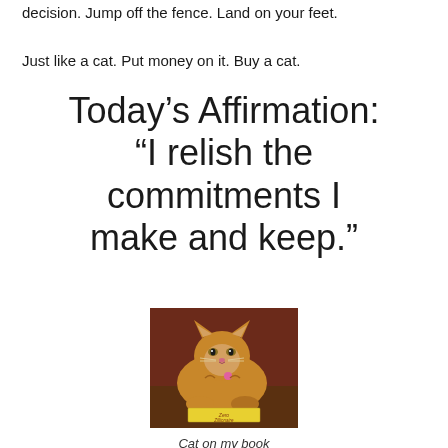decision. Jump off the fence. Land on your feet.
Just like a cat. Put money on it. Buy a cat.
Today’s Affirmation: “I relish the commitments I make and keep.”
[Figure (photo): Orange tabby cat lying on a wooden surface with a book titled 'Zero to Zillionaire' placed in front of it. The cat has a pink tag and is looking at the camera.]
Cat on my book is a Zillionaire!